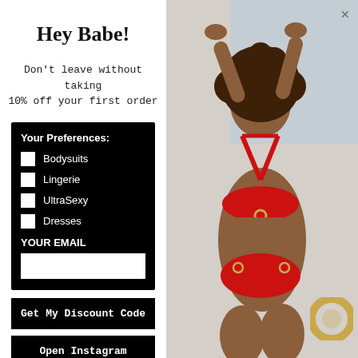Hey Babe!
Don't leave without taking 10% off your first order
Your Preferences:
Bodysuits
Lingerie
UltraSexy
Dresses
YOUR EMAIL
Get My Discount Code
Open Instagram
[Figure (photo): Woman wearing a red bikini/bodysuit with curly hair, arms raised above head, posing against a light background]